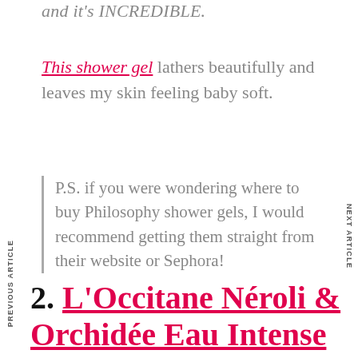and it's INCREDIBLE.
This shower gel lathers beautifully and leaves my skin feeling baby soft.
P.S. if you were wondering where to buy Philosophy shower gels, I would recommend getting them straight from their website or Sephora!
PREVIOUS ARTICLE
NEXT ARTICLE
2. L'Occitane Néroli & Orchidée Eau Intense Shower Gel – $20.00